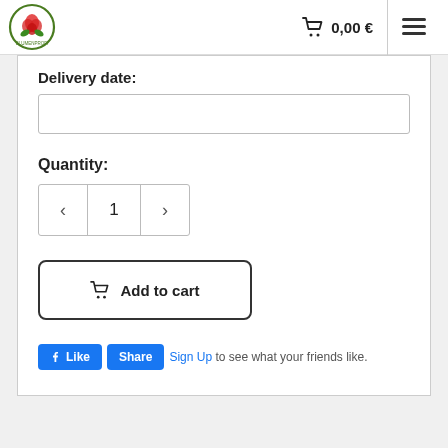[Figure (logo): Floral shop logo with rose and oval border]
🛒 0,00 €
Delivery date:
Quantity:
1
Add to cart
Like  Share  Sign Up to see what your friends like.